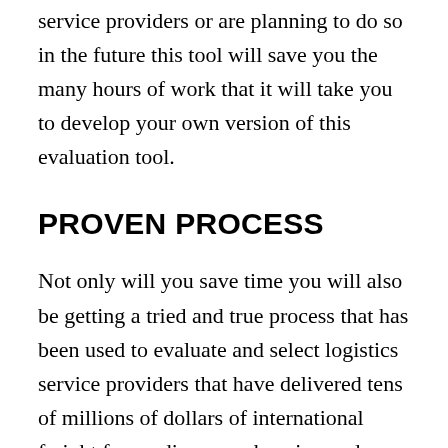service providers or are planning to do so in the future this tool will save you the many hours of work that it will take you to develop your own version of this evaluation tool.
PROVEN PROCESS
Not only will you save time you will also be getting a tried and true process that has been used to evaluate and select logistics service providers that have delivered tens of millions of dollars of international freight forwarding, warehousing and domestic transportation services throughout Australia, New Zealand and the Asia Pacific, North